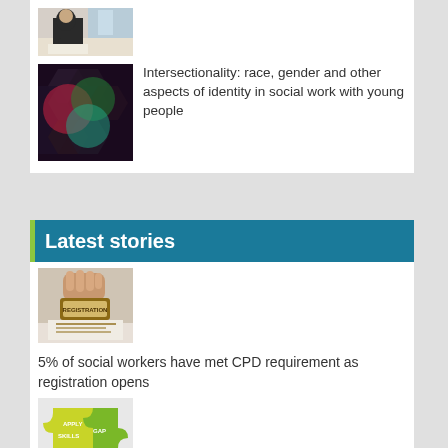[Figure (photo): Person writing at a desk, wearing dark clothing, viewed from above]
[Figure (photo): Dark background with colorful hexagonal pattern and overlapping circles of red, green, and teal light]
Intersectionality: race, gender and other aspects of identity in social work with young people
Latest stories
[Figure (photo): Hand pressing a rubber stamp with 'REGISTRATION' text onto a surface]
5% of social workers have met CPD requirement as registration opens
[Figure (photo): Green and yellow puzzle pieces with text 'APPLY', 'SKILLS', 'GAP']